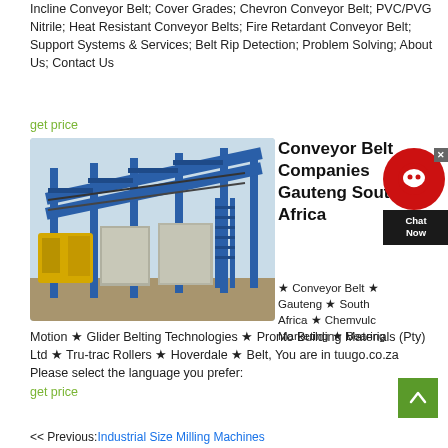Incline Conveyor Belt; Cover Grades; Chevron Conveyor Belt; PVC/PVG Nitrile; Heat Resistant Conveyor Belts; Fire Retardant Conveyor Belt; Support Systems & Services; Belt Rip Detection; Problem Solving; About Us; Contact Us
get price
[Figure (photo): Industrial conveyor belt system with blue steel frame structure and yellow machinery components at a mining or construction site]
Conveyor Belt Companies Gauteng South Africa
★ Conveyor Belt ★ Gauteng ★ South Africa ★ Chemvulc Marketing ★ Bearing Motion ★ Glider Belting Technologies ★ Pronto Building Materials (Pty) Ltd ★ Tru-trac Rollers ★ Hoverdale ★ Belt, You are in tuugo.co.za Please select the language you prefer:
get price
<< Previous:Industrial Size Milling Machines